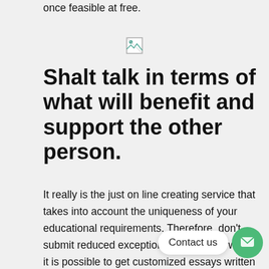once feasible at free.
[Figure (other): Broken image placeholder icon]
Shalt talk in terms of what will benefit and support the other person.
It really is the just on line creating service that takes into account the uniqueness of your educational requirements. Therefore, don't submit reduced exceptional documents when it is possible to get customized essays written at the most economical rates. Personalized Arti is the prosperous mix of c... r... permanent transportation policy, adequate